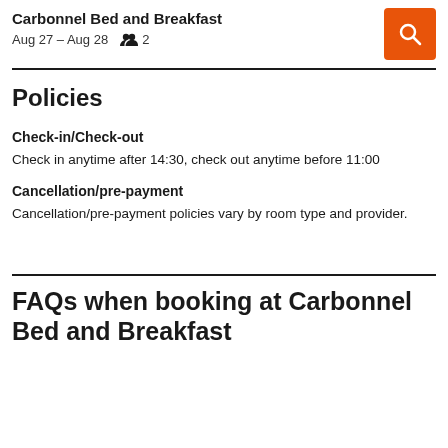Carbonnel Bed and Breakfast
Aug 27 – Aug 28   2
Policies
Check-in/Check-out
Check in anytime after 14:30, check out anytime before 11:00
Cancellation/pre-payment
Cancellation/pre-payment policies vary by room type and provider.
FAQs when booking at Carbonnel Bed and Breakfast